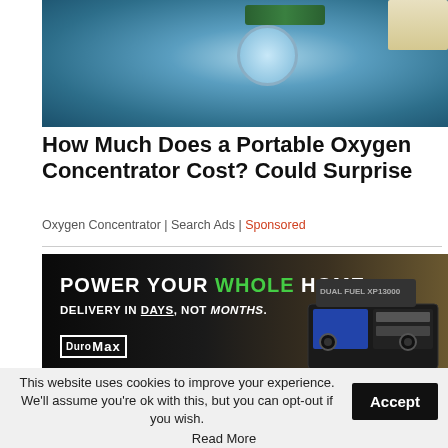[Figure (photo): Close-up photo of a portable oxygen concentrator device, teal/blue colored medical device with buttons and tubing]
How Much Does a Portable Oxygen Concentrator Cost? Could Surprise
Oxygen Concentrator | Search Ads | Sponsored
[Figure (photo): Advertisement banner for DuroMax generators. Text reads: POWER YOUR WHOLE HOME DELIVERY IN DAYS, NOT MONTHS. DuroMax logo visible. Generator product image on right side.]
This website uses cookies to improve your experience. We'll assume you're ok with this, but you can opt-out if you wish.
Read More